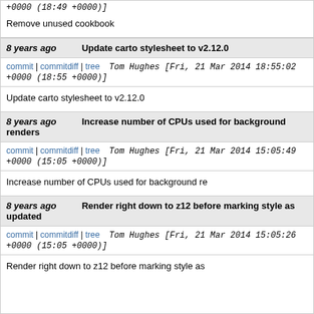+0000 (18:49 +0000)]
Remove unused cookbook
8 years ago   Update carto stylesheet to v2.12.0
commit | commitdiff | tree   Tom Hughes [Fri, 21 Mar 2014 18:55:02 +0000 (18:55 +0000)]
Update carto stylesheet to v2.12.0
8 years ago   Increase number of CPUs used for background renders
commit | commitdiff | tree   Tom Hughes [Fri, 21 Mar 2014 15:05:49 +0000 (15:05 +0000)]
Increase number of CPUs used for background re
8 years ago   Render right down to z12 before marking style as updated
commit | commitdiff | tree   Tom Hughes [Fri, 21 Mar 2014 15:05:26 +0000 (15:05 +0000)]
Render right down to z12 before marking style as